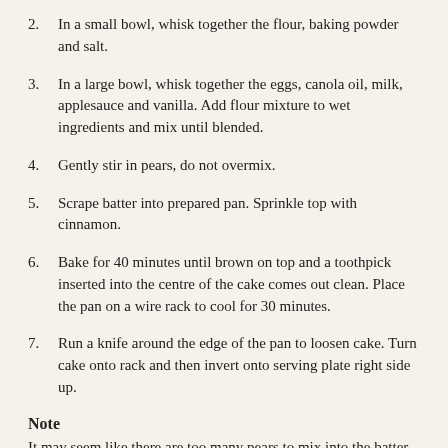2. In a small bowl, whisk together the flour, baking powder and salt.
3. In a large bowl, whisk together the eggs, canola oil, milk, applesauce and vanilla. Add flour mixture to wet ingredients and mix until blended.
4. Gently stir in pears, do not overmix.
5. Scrape batter into prepared pan. Sprinkle top with cinnamon.
6. Bake for 40 minutes until brown on top and a toothpick inserted into the centre of the cake comes out clean. Place the pan on a wire rack to cool for 30 minutes.
7. Run a knife around the edge of the pan to loosen cake. Turn cake onto rack and then invert onto serving plate right side up.
Note
It may seem like there are too many pears to mix into the batter, but don't worry, all of those pears